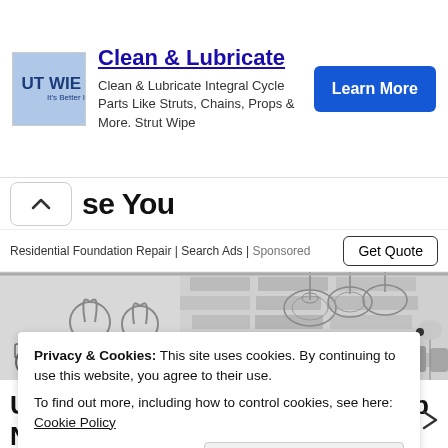[Figure (screenshot): Advertisement banner for Strut Wipe product with logo, headline 'Clean & Lubricate', description text, and 'Learn More' button]
se You
Residential Foundation Repair | Search Ads | Sponsored
[Figure (photo): Black and white photo of an interior room with bicycle, hanging pendant lights, decorative mirrors, pillows on a bed, and exposed brick wall]
Privacy & Cookies: This site uses cookies. By continuing to use this website, you agree to their use.
To find out more, including how to control cookies, see here: Cookie Policy
Unsold Beds Could Be Dirt Cheap Now: See